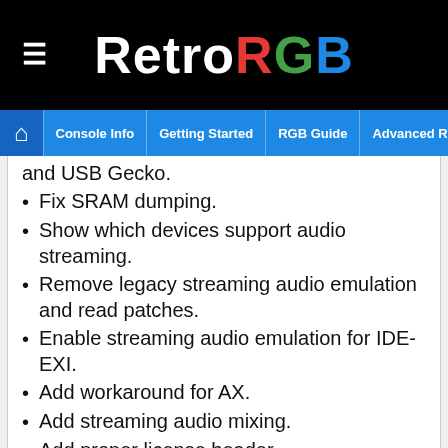RetroRGB
Console Info | Getting Started | RGB Guide | Advanced RGB Info | Ab
and USB Gecko.
Fix SRAM dumping.
Show which devices support audio streaming.
Remove legacy streaming audio emulation and read patches.
Enable streaming audio emulation for IDE-EXI.
Add workaround for AX.
Add streaming audio mixing.
Add proper license header.
Add basic streaming audio emulation for SD Gecko.
Force unlicensed discs through IPL.
Set development console type when USB